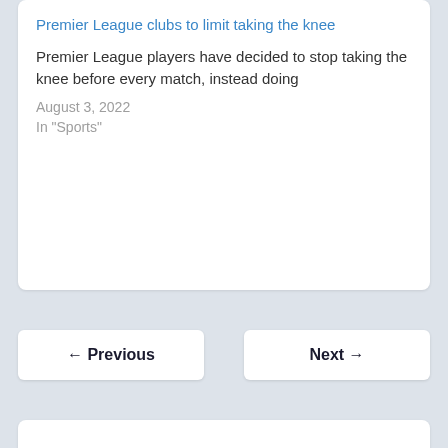Premier League clubs to limit taking the knee
Premier League players have decided to stop taking the knee before every match, instead doing
August 3, 2022
In "Sports"
← Previous
Next →